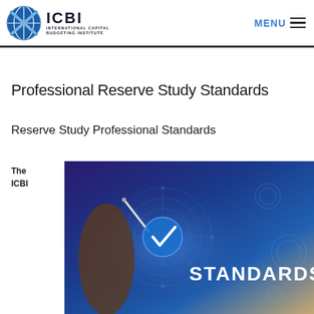ICBI — INTERNATIONAL CAPITAL BUDGETING INSTITUTE | MENU
Professional Reserve Study Standards
Reserve Study Professional Standards
The ICBI
[Figure (photo): A hand holding a stylus/pen touching a glowing digital interface with a checkmark and the word STANDARDS in white text on a blue/purple background with circuit-like patterns.]